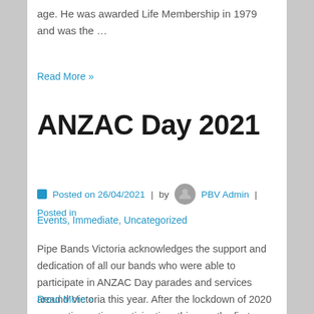age. He was awarded Life Membership in 1979 and was the …
Read More »
ANZAC Day 2021
Posted on 26/04/2021 | by PBV Admin | Posted in
Events, Immediate, Uncategorized
Pipe Bands Victoria acknowledges the support and dedication of all our bands who were able to participate in ANZAC Day parades and services around Victoria this year. After the lockdown of 2020 preventing active participation, this was the first event …
Read More »